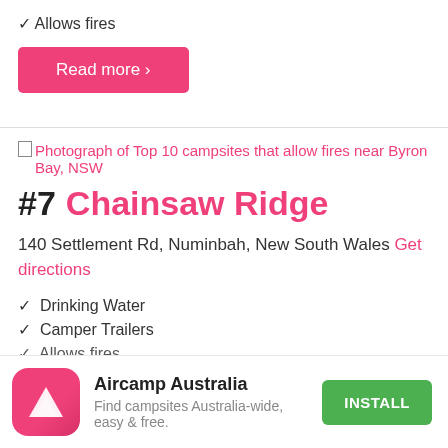✓ Allows fires
Read more ›
[Figure (screenshot): Broken image placeholder for photograph of Top 10 campsites that allow fires near Byron Bay, NSW]
#7 Chainsaw Ridge
140 Settlement Rd, Numinbah, New South Wales Get directions
✓ Drinking Water
✓ Camper Trailers
✓ Allows fires
[Figure (logo): Aircamp Australia app banner with pink icon showing white triangle/tent logo, app name, tagline and green Install button]
Aircamp Australia
Find campsites Australia-wide, easy & free.